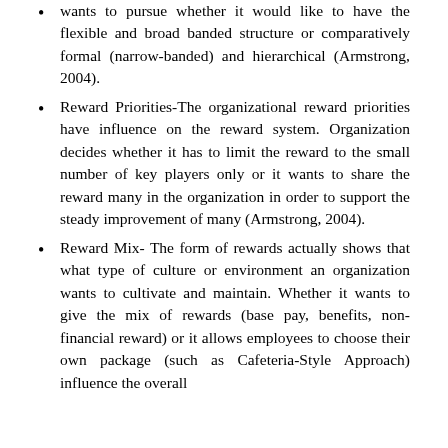wants to pursue whether it would like to have the flexible and broad banded structure or comparatively formal (narrow-banded) and hierarchical (Armstrong, 2004).
Reward Priorities-The organizational reward priorities have influence on the reward system. Organization decides whether it has to limit the reward to the small number of key players only or it wants to share the reward many in the organization in order to support the steady improvement of many (Armstrong, 2004).
Reward Mix- The form of rewards actually shows that what type of culture or environment an organization wants to cultivate and maintain. Whether it wants to give the mix of rewards (base pay, benefits, non-financial reward) or it allows employees to choose their own package (such as Cafeteria-Style Approach) influence the overall reward system (Marchington & Wilkinson, 2005).